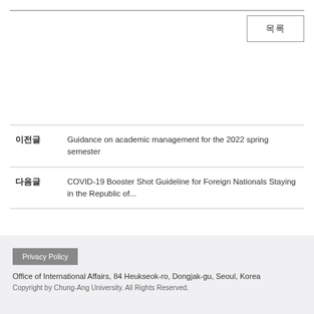목록
| 이전글 | Guidance on academic management for the 2022 spring semester |
| 다음글 | COVID-19 Booster Shot Guideline for Foreign Nationals Staying in the Republic of... |
Privacy Policy
Office of International Affairs, 84 Heukseok-ro, Dongjak-gu, Seoul, Korea
Copyright by Chung-Ang University. All Rights Reserved.